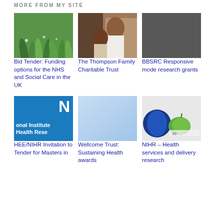MORE FROM MY SITE
[Figure (photo): Close-up of green grass with water droplets]
Bid Tender: Funding options for the NHS and Social Care in the UK
[Figure (photo): Two children, mother and child looking at something]
The Thompson Family Charitable Trust
[Figure (photo): Dark grey solid background image]
BBSRC Responsive mode research grants
[Figure (logo): National Institute for Health Research logo on blue background]
HEE/NIHR Invitation to Tender for Masters in
[Figure (photo): Light blue gradient background]
Wellcome Trust: Sustaining Health awards
[Figure (photo): Green apple and blue dumbbell with measuring tape]
NIHR – Health services and delivery research